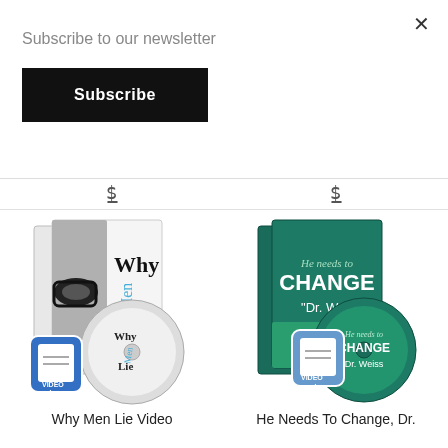Subscribe to our newsletter
Subscribe
$35.00
$25.00
[Figure (photo): Why Men Lie Video product — DVD case and disc with black and white face graphic showing glasses, text 'Why Men Lie' on cover, and a video file icon badge]
[Figure (photo): He Needs To Change, Dr. Weiss product — DVD case and disc with teal/green design and text 'He needs to CHANGE Dr. Weiss', with a video file icon badge]
Why Men Lie Video
He Needs To Change, Dr.